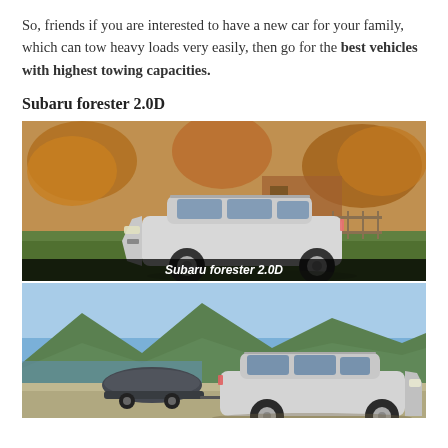So, friends if you are interested to have a new car for your family, which can tow heavy loads very easily, then go for the best vehicles with highest towing capacities.
Subaru forester 2.0D
[Figure (photo): A silver Subaru Forester 2.0D SUV parked in an autumn setting with trees showing fall foliage. Caption at the bottom reads 'Subaru forester 2.0D'.]
[Figure (photo): A silver Subaru Forester towing a covered boat trailer near a lake with mountains in the background and blue sky.]